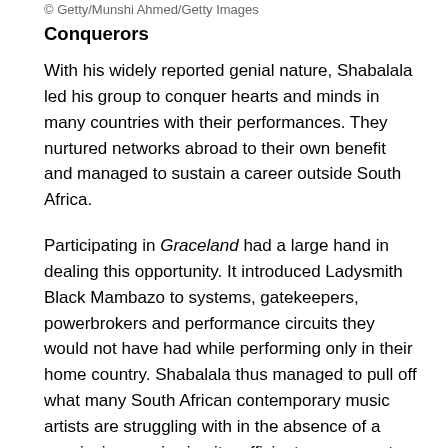© Getty/Munshi Ahmed/Getty Images
Conquerors
With his widely reported genial nature, Shabalala led his group to conquer hearts and minds in many countries with their performances. They nurtured networks abroad to their own benefit and managed to sustain a career outside South Africa.
Participating in Graceland had a large hand in dealing this opportunity. It introduced Ladysmith Black Mambazo to systems, gatekeepers, powerbrokers and performance circuits they would not have had while performing only in their home country. Shabalala thus managed to pull off what many South African contemporary music artists are struggling with in the absence of a convincing music circuit, sufficient government and corporate sector programmes to support South African music abroad and so on.